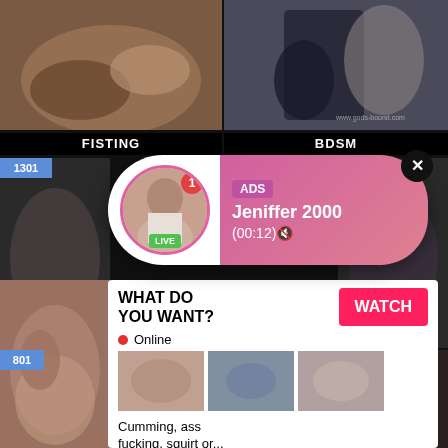[Figure (photo): Adult content thumbnail - top left]
[Figure (photo): Adult content thumbnail BDSM - top right with watermark www.gods-bound.com]
FISTING
BDSM
1301
[Figure (photo): Adult content thumbnail - middle left]
[Figure (photo): Adult content thumbnail - middle right with iMen.com watermark]
[Figure (screenshot): Ad popup notification: ADS Jeniffer 2000 (00:12) with LIVE badge and avatar]
ADS
Jeniffer 2000
(00:12)🔇
LIVE
801
[Figure (photo): Adult content thumbnail - bottom left blowjob scene]
[Figure (screenshot): Ad panel: WHAT DO YOU WANT? WATCH button, Online status, thumbnails, text Cumming ass fucking squirt or... ADS]
WHAT DO
YOU WANT?
WATCH
Online
Cumming, ass
fucking, squirt or...
• ADS
[Figure (photo): Adult content thumbnail - bottom right]